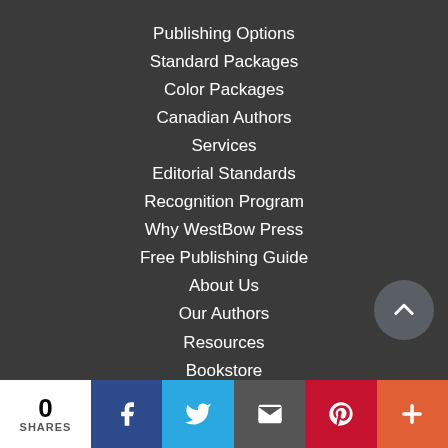Publishing Options
Standard Packages
Color Packages
Canadian Authors
Services
Editorial Standards
Recognition Program
Why WestBow Press
Free Publishing Guide
About Us
Our Authors
Resources
Bookstore
BookStub™ Redemption
FAQs
0 SHARES